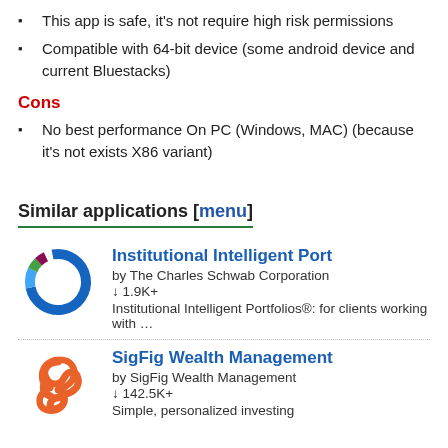This app is safe, it's not require high risk permissions
Compatible with 64-bit device (some android device and current Bluestacks)
Cons
No best performance On PC (Windows, MAC) (because it's not exists X86 variant)
Similar applications [menu]
[Figure (logo): Donut chart icon for Institutional Intelligent Port app]
Institutional Intelligent Port
by The Charles Schwab Corporation
↓ 1.9K+
Institutional Intelligent Portfolios®: for clients working with …
[Figure (logo): Orange interlocking loops icon for SigFig Wealth Management app]
SigFig Wealth Management
by SigFig Wealth Management
↓ 142.5K+
Simple, personalized investing